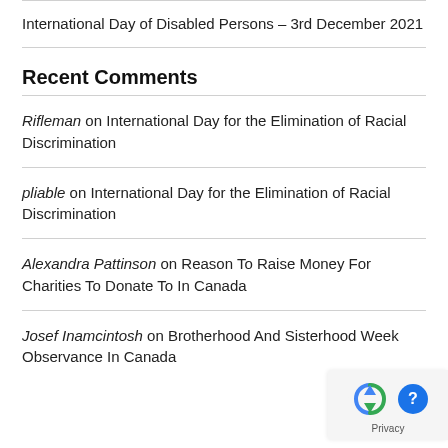International Day of Disabled Persons – 3rd December 2021
Recent Comments
Rifleman on International Day for the Elimination of Racial Discrimination
pliable on International Day for the Elimination of Racial Discrimination
Alexandra Pattinson on Reason To Raise Money For Charities To Donate To In Canada
Josef Inamcintosh on Brotherhood And Sisterhood Week Observance In Canada